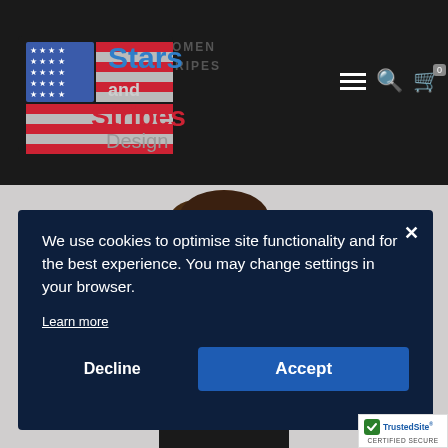[Figure (screenshot): Stars and Stripes Design website header with American flag logo, hamburger menu, search and cart icons on dark background. Background text reads 'FLAG NEW WOMEN AR, STAND STRIPES']
[Figure (photo): Partial view of a female model with brown hair against a light grey background]
We use cookies to optimise site functionality and for the best experience. You may change settings in your browser.
Learn more
Decline
Accept
[Figure (logo): TrustedSite CERTIFIED SECURE badge]